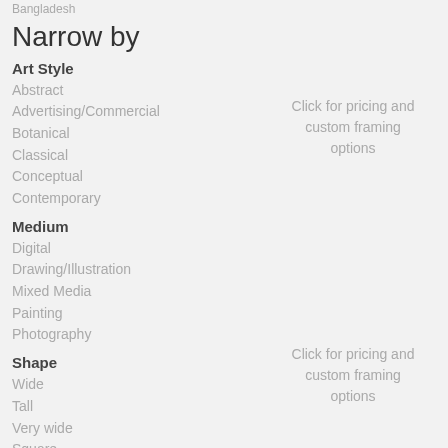Bangladesh
Narrow by
Art Style
Abstract
Advertising/Commercial
Botanical
Classical
Conceptual
Contemporary
Click for pricing and custom framing options
Medium
Digital
Drawing/Illustration
Mixed Media
Painting
Photography
Shape
Wide
Tall
Very wide
Square
Very tall
Click for pricing and custom framing options
Color